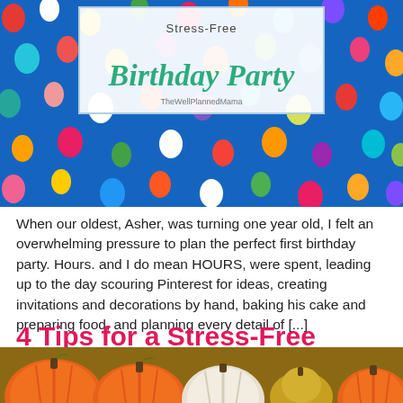[Figure (photo): Colorful balloons floating on a blue sky background with a white box overlay showing 'Stress-Free Birthday Party' text and TheWellPlannedMama watermark]
When our oldest, Asher, was turning one year old, I felt an overwhelming pressure to plan the perfect first birthday party. Hours. and I do mean HOURS, were spent, leading up to the day scouring Pinterest for ideas, creating invitations and decorations by hand, baking his cake and preparing food, and planning every detail of [...]
4 Tips for a Stress-Free Thanksgiving
[Figure (photo): Photo of orange and white pumpkins and gourds arranged together]